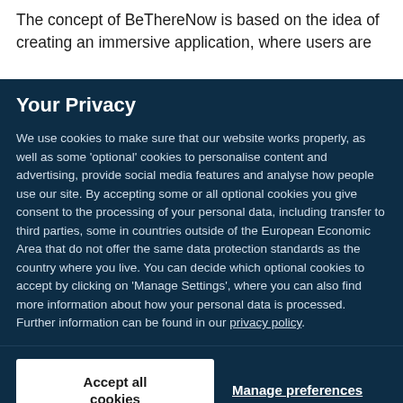The concept of BeThereNow is based on the idea of creating an immersive application, where users are
Your Privacy
We use cookies to make sure that our website works properly, as well as some 'optional' cookies to personalise content and advertising, provide social media features and analyse how people use our site. By accepting some or all optional cookies you give consent to the processing of your personal data, including transfer to third parties, some in countries outside of the European Economic Area that do not offer the same data protection standards as the country where you live. You can decide which optional cookies to accept by clicking on 'Manage Settings', where you can also find more information about how your personal data is processed. Further information can be found in our privacy policy.
Accept all cookies
Manage preferences